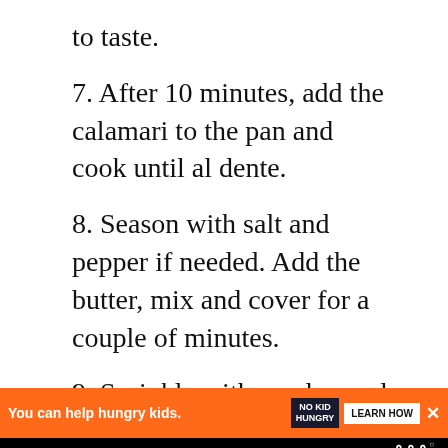to taste.
7. After 10 minutes, add the calamari to the pan and cook until al dente.
8. Season with salt and pepper if needed. Add the butter, mix and cover for a couple of minutes.
9. Sprinkle with parsley and serve.
[Figure (screenshot): Purple promotional section: 'Did you make this rec...' with 'Tag @cookwithmanuela on' text and a 'WHAT'S NEXT' Traditional Italian... callout box]
[Figure (screenshot): Orange advertisement bar: 'You can help hungry kids.' with NO KID HUNGRY logo and LEARN HOW button]